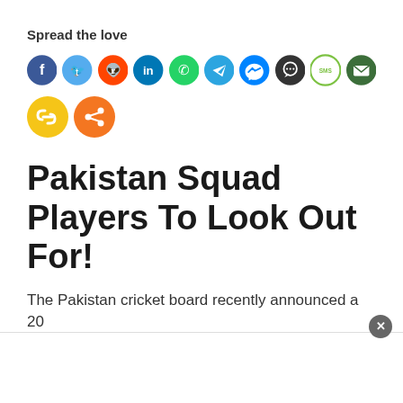Spread the love
[Figure (infographic): Social sharing icons row: Facebook (blue), Twitter (light blue), Reddit (orange-red), LinkedIn (blue), WhatsApp (green), Telegram (blue), Messenger (blue), Chat (dark), SMS (green outline), Email (dark green), Copy Link (yellow), Share (orange)]
Pakistan Squad Players To Look Out For!
The Pakistan cricket board recently announced a 20